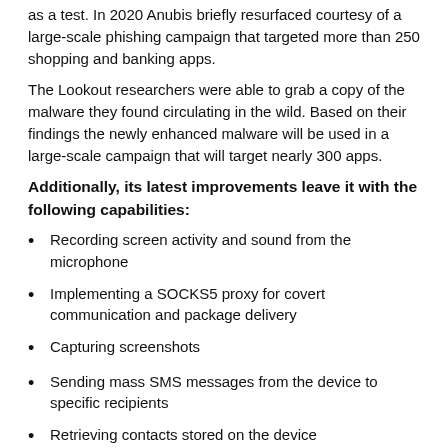as a test. In 2020 Anubis briefly resurfaced courtesy of a large-scale phishing campaign that targeted more than 250 shopping and banking apps.
The Lookout researchers were able to grab a copy of the malware they found circulating in the wild. Based on their findings the newly enhanced malware will be used in a large-scale campaign that will target nearly 300 apps.
Additionally, its latest improvements leave it with the following capabilities:
Recording screen activity and sound from the microphone
Implementing a SOCKS5 proxy for covert communication and package delivery
Capturing screenshots
Sending mass SMS messages from the device to specific recipients
Retrieving contacts stored on the device
Sending, reading, deleting, and blocking notifications